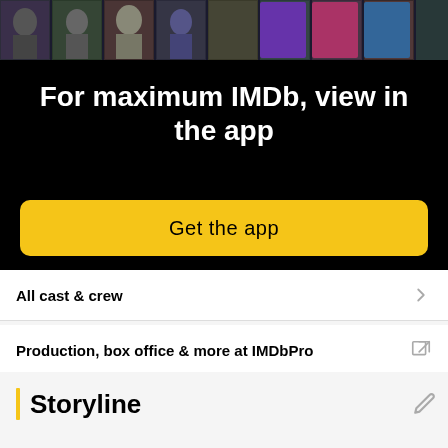[Figure (screenshot): Top banner with IMDb app promotional overlay on a black background, with a horizontal strip of celebrity/movie photos at the top]
For maximum IMDb, view in the app
Get the app
All cast & crew
Production, box office & more at IMDbPro
Storyline